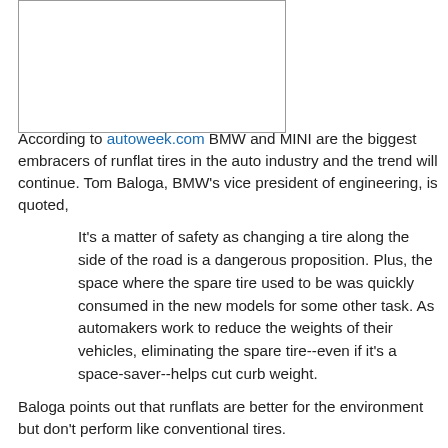[Figure (other): Empty white box with border, likely placeholder for an image]
According to autoweek.com BMW and MINI are the biggest embracers of runflat tires in the auto industry and the trend will continue. Tom Baloga, BMW's vice president of engineering, is quoted,
It's a matter of safety as changing a tire along the side of the road is a dangerous proposition. Plus, the space where the spare tire used to be was quickly consumed in the new models for some other task. As automakers work to reduce the weights of their vehicles, eliminating the spare tire--even if it's a space-saver--helps cut curb weight.
Baloga points out that runflats are better for the environment but don't perform like conventional tires.